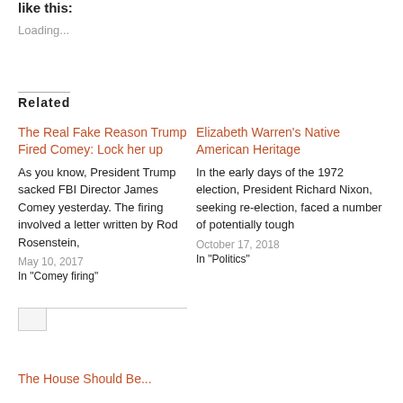like this:
Loading...
Related
The Real Fake Reason Trump Fired Comey: Lock her up
As you know, President Trump sacked FBI Director James Comey yesterday. The firing involved a letter written by Rod Rosenstein,
May 10, 2017
In "Comey firing"
Elizabeth Warren’s Native American Heritage
In the early days of the 1972 election, President Richard Nixon, seeking re-election, faced a number of potentially tough
October 17, 2018
In "Politics"
[Figure (photo): Small broken image placeholder thumbnail]
The House Should Be...